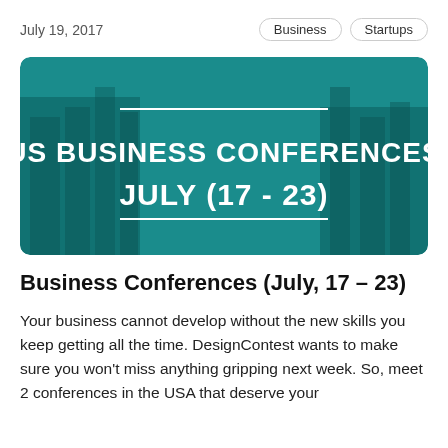July 19, 2017
Business  Startups
[Figure (photo): Banner image of New York City skyline with a teal overlay. Large white text reads 'US BUSINESS CONFERENCES JULY (17 - 23)' with decorative horizontal lines above and below.]
Business Conferences (July, 17 – 23)
Your business cannot develop without the new skills you keep getting all the time. DesignContest wants to make sure you won't miss anything gripping next week. So, meet 2 conferences in the USA that deserve your